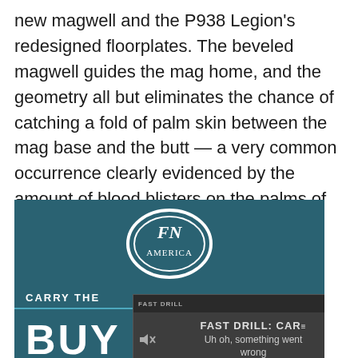new magwell and the P938 Legion's redesigned floorplates. The beveled magwell guides the mag home, and the geometry all but eliminates the chance of catching a fold of palm skin between the mag base and the butt — a very common occurrence clearly evidenced by the amount of blood blisters on the palms of P938 shooters.
[Figure (screenshot): FN brand advertisement with teal background showing FN oval logo and 'CARRY THE' text and 'BUY' text, overlaid by a video player showing 'FAST DRILL: CAR—' title and 'Uh oh, something went wrong' error message with playback controls at 0:00]